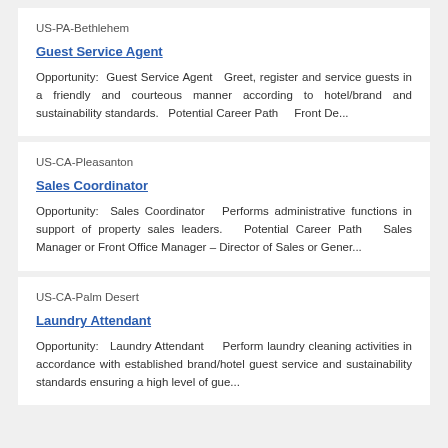US-PA-Bethlehem
Guest Service Agent
Opportunity:  Guest Service Agent   Greet, register and service guests in a friendly and courteous manner according to hotel/brand and sustainability standards.   Potential Career Path      Front De...
US-CA-Pleasanton
Sales Coordinator
Opportunity:  Sales Coordinator   Performs administrative functions in support of property sales leaders.   Potential Career Path   Sales Manager or Front Office Manager – Director of Sales or Gener...
US-CA-Palm Desert
Laundry Attendant
Opportunity:  Laundry Attendant      Perform laundry cleaning activities in accordance with established brand/hotel guest service and sustainability standards ensuring a high level of gue...